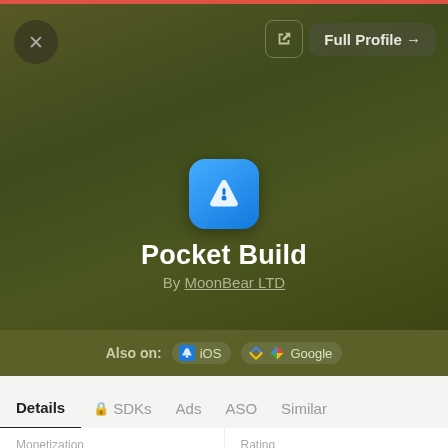[Figure (screenshot): App profile preview card for Pocket Build mobile game. Shows app icon (blue App Store icon placeholder), title 'Pocket Build', developer 'By MoonBear LTD', platform availability (iOS and Google), navigation tabs (Details, SDKs, Ads, ASO, Similar), and detail fields for Monetization (Paid ($0.99) + Inapps) and Rating (4.6 stars, 68,332 reviews).]
Pocket Build
By MoonBear LTD
Also on: iOS  Google
Monetization
Paid ($0.99) + Inapps
Rating
★★★★★ (4.6) 68,362